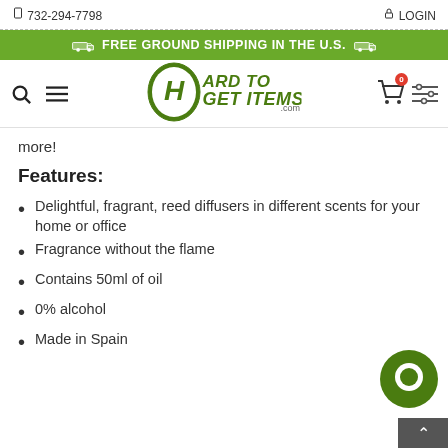732-294-7798  LOGIN
FREE GROUND SHIPPING IN THE U.S.
[Figure (logo): Hard To Get Items .com logo with green H icon]
more!
Features:
Delightful, fragrant, reed diffusers in different scents for your home or office
Fragrance without the flame
Contains 50ml of oil
0% alcohol
Made in Spain